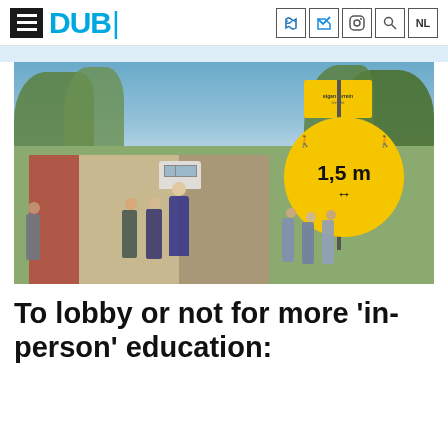DUB
[Figure (photo): Students walking along a bike lane and sidewalk next to a road, with a large yellow circular sign showing '1,5 m' social distancing requirement and a yellow rectangular sign on a pole above it. Trees line the background.]
To lobby or not for more 'in-person' education: